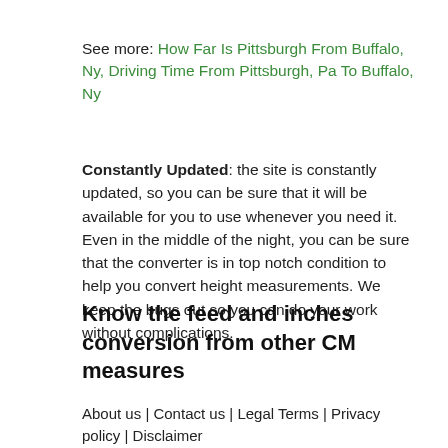See more: How Far Is Pittsburgh From Buffalo, Ny, Driving Time From Pittsburgh, Pa To Buffalo, Ny
Constantly Updated: the site is constantly updated, so you can be sure that it will be available for you to use whenever you need it. Even in the middle of the night, you can be sure that the converter is in top notch condition to help you convert height measurements. We keep the bugs out so you can do your work without complications.
Know the feed and inches conversion from other CM measures
About us | Contact us | Legal Terms | Privacy policy | Disclaimer